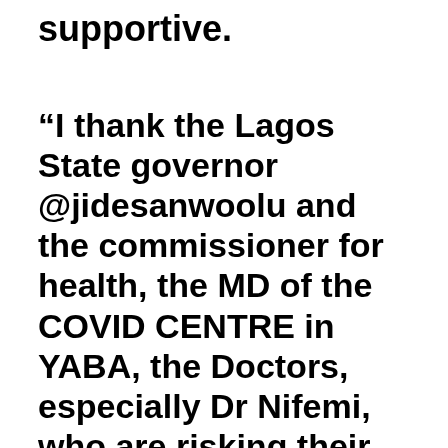supportive.
“I thank the Lagos State governor @jidesanwoolu and the commissioner for health, the MD of the COVID CENTRE in YABA, the Doctors, especially Dr Nifemi, who are risking their lives to keep us alive. Thanks to all the nurses.